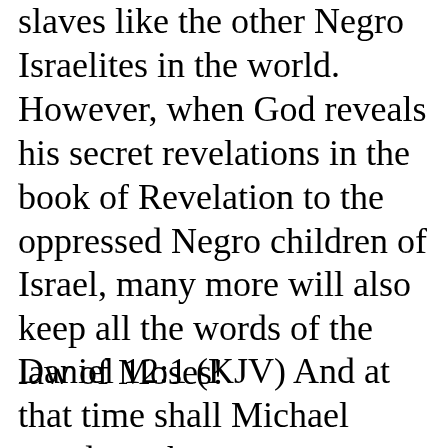slaves like the other Negro Israelites in the world. However, when God reveals his secret revelations in the book of Revelation to the oppressed Negro children of Israel, many more will also keep all the words of the law of Moses!
Daniel 12:1 (KJV) And at that time shall Michael stand up, the